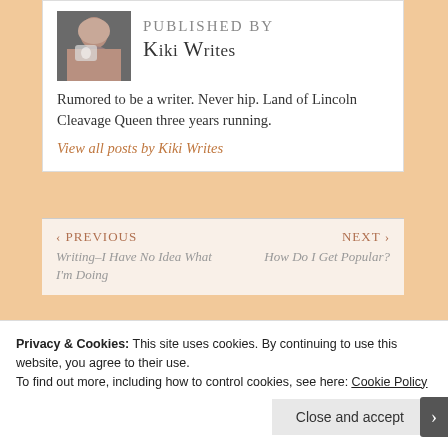[Figure (photo): Author photo: person drinking from a mug]
Published by Kiki Writes
Rumored to be a writer. Never hip. Land of Lincoln Cleavage Queen three years running.
View all posts by Kiki Writes
‹ PREVIOUS
Writing–I Have No Idea What I'm Doing
NEXT ›
How Do I Get Popular?
Privacy & Cookies: This site uses cookies. By continuing to use this website, you agree to their use.
To find out more, including how to control cookies, see here: Cookie Policy
Close and accept